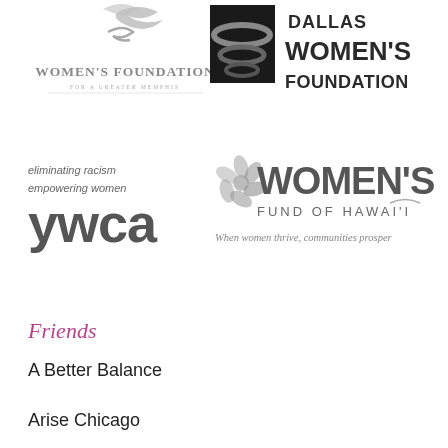[Figure (logo): Women's Foundation for a Greater Memphis logo - grey cursive emblem with text]
[Figure (logo): Dallas Women's Foundation logo - black swirl graphic with bold text DALLAS WOMEN'S FOUNDATION]
[Figure (logo): YWCA logo - eliminating racism empowering women ywca in grey]
[Figure (logo): Women's Fund of Hawai'i logo - grey floral Women's text, When women thrive, communities prosper]
Friends
A Better Balance
Arise Chicago